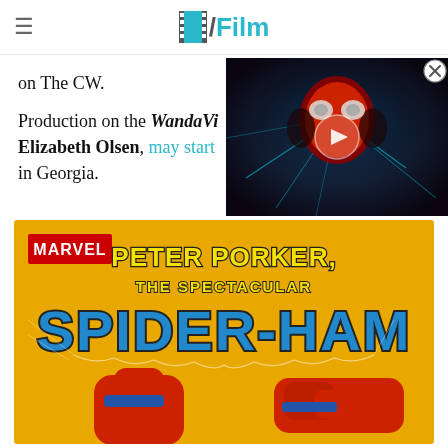/Film
on The CW.
Production on the WandaVision … Elizabeth Olsen, may start … in Georgia.
[Figure (screenshot): Video thumbnail showing a dark, red and blue Spider-Man-like creature with play button overlay]
[Figure (illustration): Marvel comic cover: Peter Porker, The Spectacular Spider-Ham — yellow background with large stylized text and partial red cartoon pig superhero figure]